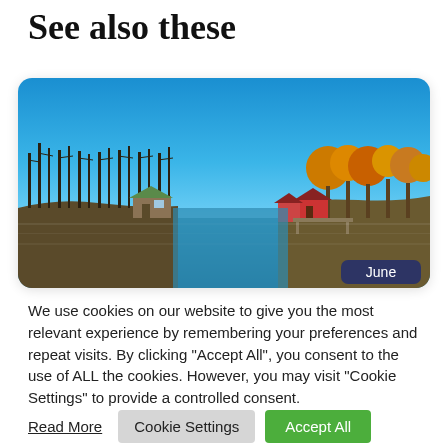See also these
[Figure (photo): Panoramic photo of a lake or river channel with clear blue sky, bare winter trees on the left bank, a small cabin with a green roof on the left, and red buildings among autumn-colored trees on the right bank. A 'June' badge appears in the bottom-right corner.]
We use cookies on our website to give you the most relevant experience by remembering your preferences and repeat visits. By clicking "Accept All", you consent to the use of ALL the cookies. However, you may visit "Cookie Settings" to provide a controlled consent.
Read More
Cookie Settings
Accept All